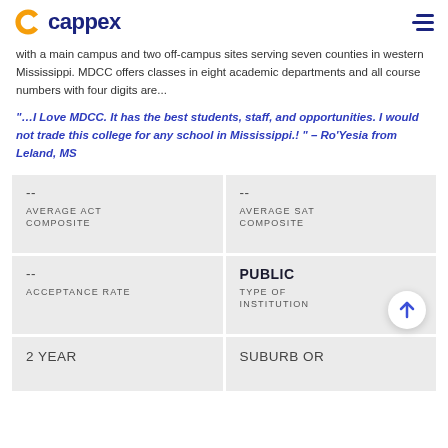cappex
with a main campus and two off-campus sites serving seven counties in western Mississippi. MDCC offers classes in eight academic departments and all course numbers with four digits are...
“…I Love MDCC. It has the best students, staff, and opportunities. I would not trade this college for any school in Mississippi.! ” – Ro'Yesia from Leland, MS
| AVERAGE ACT COMPOSITE | AVERAGE SAT COMPOSITE | ACCEPTANCE RATE | TYPE OF INSTITUTION | 2 YEAR | SUBURB OR |
| --- | --- | --- | --- | --- | --- |
| -- | -- |
| -- | PUBLIC |